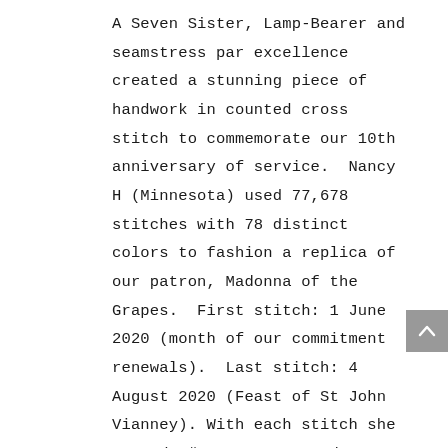A Seven Sister, Lamp-Bearer and seamstress par excellence created a stunning piece of handwork in counted cross stitch to commemorate our 10th anniversary of service.  Nancy H (Minnesota) used 77,678 stitches with 78 distinct colors to fashion a replica of our patron, Madonna of the Grapes.  First stitch: 1 June 2020 (month of our commitment renewals).  Last stitch: 4 August 2020 (Feast of St John Vianney).  With each stitch she prayed, “Jesus, Mary and Joseph:  bless each Seven Sister for Priests.” Photos attached: (1) Nancy and her pastor who blessed the image.  The